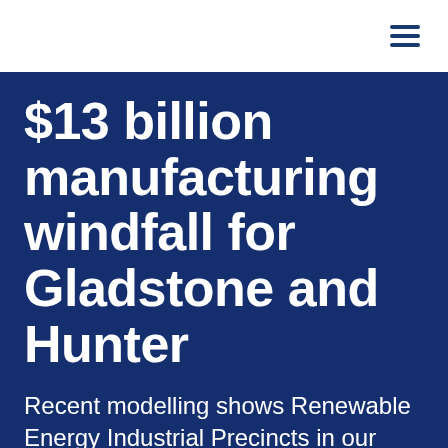$13 billion manufacturing windfall for Gladstone and Hunter
Recent modelling shows Renewable Energy Industrial Precincts in our regions have enormous economic